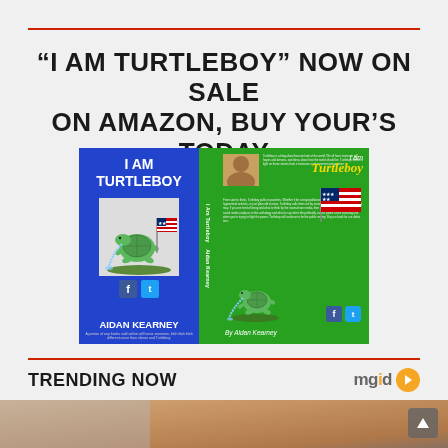“I AM TURTLEBOY” NOW ON SALE ON AMAZON, BUY YOUR’S TODAY
[Figure (photo): Book cover of 'I Am Turtleboy' by Aidan Kearney showing front cover (blue background with turtleboy mascot and American flag), spine, and back cover (green background with book description and author photo)]
TRENDING NOW
[Figure (photo): Partial image of what appears to be a person's hands or skin, cropped at the bottom of the page, with a gray scroll-up button in the bottom right corner]